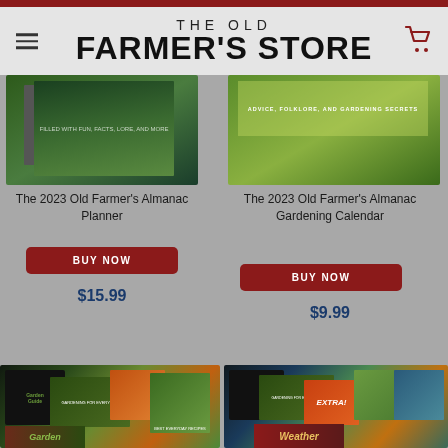THE OLD FARMER'S STORE
[Figure (photo): The 2023 Old Farmer's Almanac Planner book cover with floral design]
The 2023 Old Farmer's Almanac Planner
BUY NOW
$15.99
[Figure (photo): The 2023 Old Farmer's Almanac Gardening Calendar book cover]
The 2023 Old Farmer's Almanac Gardening Calendar
BUY NOW
$9.99
[Figure (photo): Bundle of gardening books and digital products]
[Figure (photo): Bundle including Extra magazine and weather-related products]